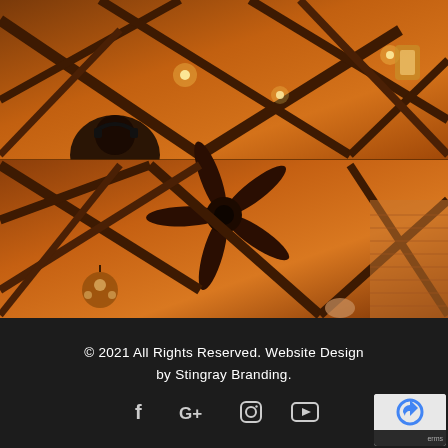[Figure (photo): Two photos of an indoor venue with wooden beam ceiling trusses and large ceiling fan, warm amber lighting, chandeliers, and people (possibly DJs or staff with headphones) visible in the upper photo. Rustic/warm wood tones throughout.]
© 2021 All Rights Reserved. Website Design by Stingray Branding.
[Figure (other): Social media icons: Facebook (f), Google+ (G+), Instagram (camera), YouTube (play button)]
[Figure (other): reCAPTCHA badge partially visible in bottom-right corner]